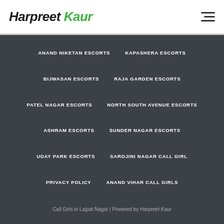Harpreet Kaur
ANAND NIKETAN ESCORTS
KAPASHERA ESCORTS
BIJWASAN ESCORTS
RAJA GARDEN ESCORTS
PATEL NAGAR ESCORTS
NORTH SOUTH AVENUE ESCORTS
ASHRAM ESCORTS
SUNDER NAGAR ESCORTS
UDAY PARK ESCORTS
SAROJINI NAGAR CALL GIRL
PRIVACY POLICY
ANAND VIHAR CALL GIRLS
Call Girls in Lajpat Nagar | Powered by Harpreet Kaur